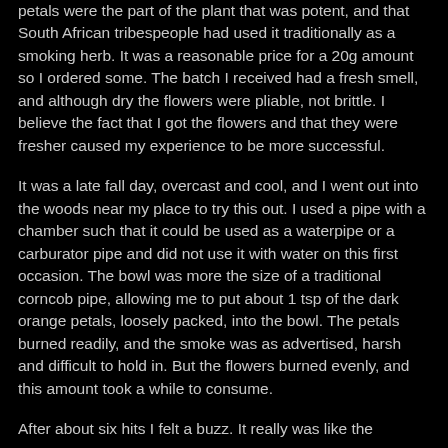petals were the part of the plant that was potent, and that South African tribespeople had used it traditionally as a smoking herb. It was a reasonable price for a 20g amount so I ordered some. The batch I received had a fresh smell, and although dry the flowers were pliable, not brittle. I believe the fact that I got the flowers and that they were fresher caused my experience to be more successful.
It was a late fall day, overcast and cool, and I went out into the woods near my place to try this out. I used a pipe with a chamber such that it could be used as a waterpipe or a carburator pipe and did not use it with water on this first occasion. The bowl was more the size of a traditional corncob pipe, allowing me to put about 1 tsp of the dark orange petals, loosely packed, into the bowl. The petals burned readily, and the smoke was as advertised, harsh and difficult to hold in. But the flowers burned evenly, and this amount took a while to consume.
After about six hits I felt a buzz. It really was like the